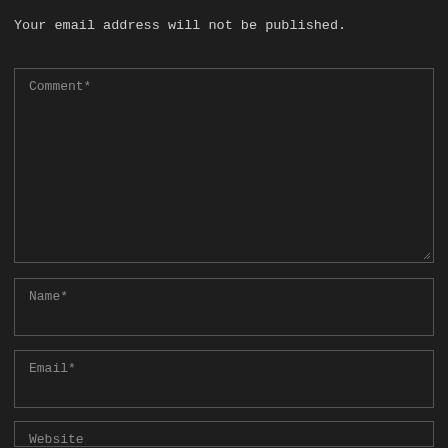Your email address will not be published.
Comment*
Name*
Email*
Website